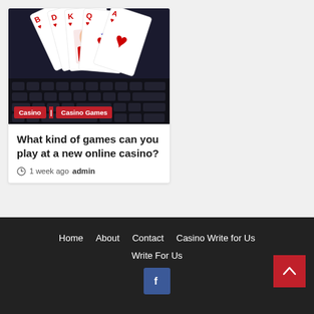[Figure (photo): Playing cards fanned out on a laptop keyboard, with a heart queen card visible. Dark moody background.]
Casino | Casino Games
What kind of games can you play at a new online casino?
1 week ago  admin
Home   About   Contact   Casino Write for Us   Write For Us